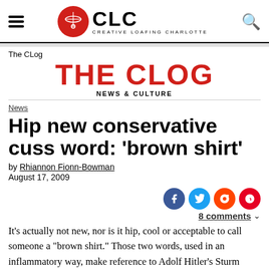CLC CREATIVE LOAFING CHARLOTTE
The CLog
THE CLOG NEWS & CULTURE
News
Hip new conservative cuss word: 'brown shirt'
by Rhiannon Fionn-Bowman
August 17, 2009
8 comments
It's actually not new, nor is it hip, cool or acceptable to call someone a "brown shirt." Those two words, used in an inflammatory way, make reference to Adolf Hitler's Sturm Abteilung, or